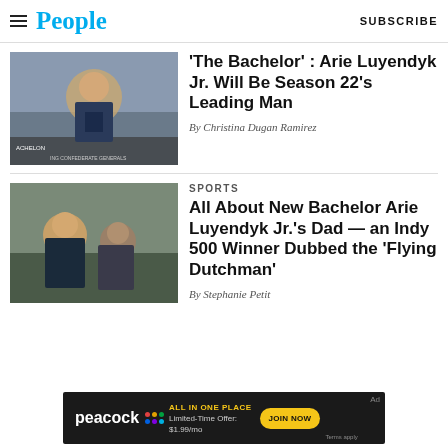People | SUBSCRIBE
‘The Bachelor’ : Arie Luyendyk Jr. Will Be Season 22’s Leading Man
By Christina Dugan Ramirez
SPORTS
All About New Bachelor Arie Luyendyk Jr.’s Dad — an Indy 500 Winner Dubbed the ‘Flying Dutchman’
By Stephanie Petit
[Figure (screenshot): Peacock streaming service advertisement banner: dark background with peacock logo, 'ALL IN ONE PLACE', 'Limited-Time Offer: $1.99/mo', and 'JOIN NOW' button]